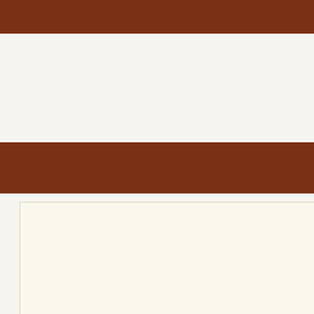THE BA
This rambunctious s of a problem-solve
By D. CAROLINE COILE, PH. D.